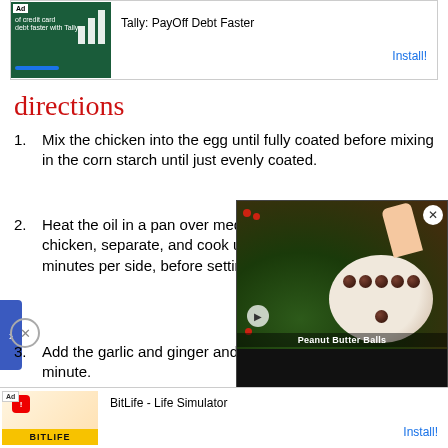[Figure (screenshot): Top advertisement banner: Tally PayOff Debt Faster app ad with Install button]
directions
Mix the chicken into the egg until fully coated before mixing in the corn starch until just evenly coated.
Heat the oil in a pan over medium-high heat, add the chicken, separate, and cook until golden brown, about 2-4 minutes per side, before setting aside.
Add the garlic and ginger and cook until fragrant, about a minute.
Add the mixture of the b[sauce, ketchup, vinegar, cornstarch, bring to a b[thickens a bit, about a m[
Add the chicken, toss t[ mix in the sesame oil, s[ onions and enjoy over rice or noodles.
[Figure (screenshot): Video overlay showing Peanut Butter Balls recipe video with close button]
[Figure (screenshot): Bottom advertisement banner: BitLife - Life Simulator app ad with Install button]